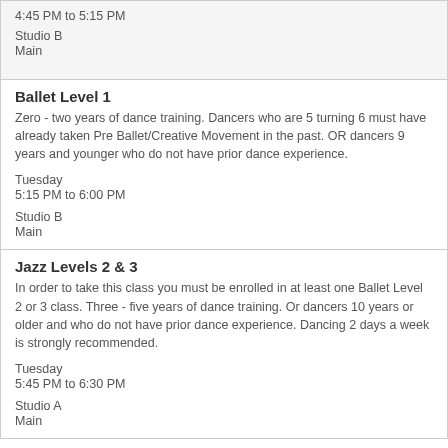| 4:45 PM to 5:15 PM
Studio B
Main |
| Ballet Level 1
Zero - two years of dance training. Dancers who are 5 turning 6 must have already taken Pre Ballet/Creative Movement in the past. OR dancers 9 years and younger who do not have prior dance experience.
Tuesday
5:15 PM to 6:00 PM
Studio B
Main |
| Jazz Levels 2 & 3
In order to take this class you must be enrolled in at least one Ballet Level 2 or 3 class. Three - five years of dance training. Or dancers 10 years or older and who do not have prior dance experience. Dancing 2 days a week is strongly recommended.
Tuesday
5:45 PM to 6:30 PM
Studio A
Main |